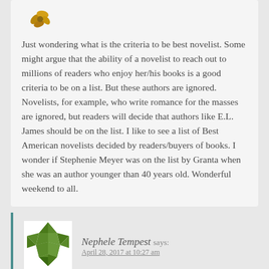Just wondering what is the criteria to be best novelist. Some might argue that the ability of a novelist to reach out to millions of readers who enjoy her/his books is a good criteria to be on a list. But these authors are ignored. Novelists, for example, who write romance for the masses are ignored, but readers will decide that authors like E.L. James should be on the list. I like to see a list of Best American novelists decided by readers/buyers of books. I wonder if Stephenie Meyer was on the list by Granta when she was an author younger than 40 years old. Wonderful weekend to all.
Nephele Tempest says: April 28, 2017 at 10:27 am
Of course all of these lists are subjective, and the people/groups who compile them have their own criteria